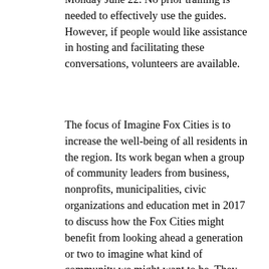Monday June 22. No prior training is needed to effectively use the guides. However, if people would like assistance in hosting and facilitating these conversations, volunteers are available.
The focus of Imagine Fox Cities is to increase the well-being of all residents in the region. Its work began when a group of community leaders from business, nonprofits, municipalities, civic organizations and education met in 2017 to discuss how the Fox Cities might benefit from looking ahead a generation or two to imagine what kind of community we might want to be. They considered, “What would we want for our children and grandchildren as they live their lives in this place?” The group decided to do just that: Imagine Fox Cities.
One aspiration clearly expressed during the group’s first convening of several community stakeholders in October 2019 was to become a community in which all